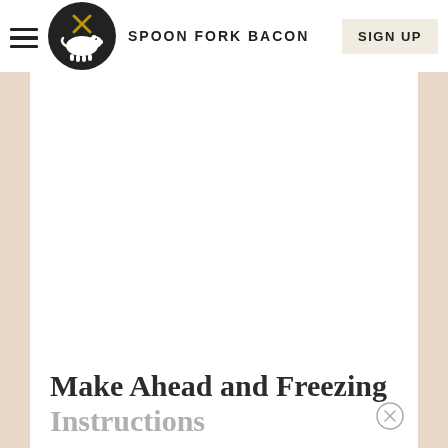SPOON FORK BACON
[Figure (logo): Spoon Fork Bacon website logo: dark circular emblem with white pig silhouette and crossed utensils above]
Make Ahead and Freezing Instructions